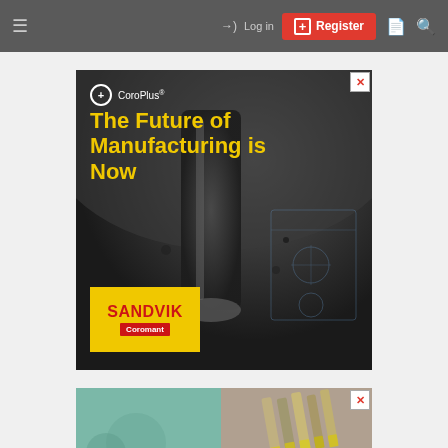Navigation bar with hamburger menu, Log in, Register, and search icons
[Figure (illustration): Sandvik Coromant CoroPlus advertisement. Dark background showing a machining tool/drill. Text: CoroPlus® - The Future of Manufacturing is Now. Yellow box with SANDVIK Coromant logo in red.]
[Figure (photo): Second advertisement showing cutting tools/drill bits against a teal/green background, partially visible at bottom of page.]